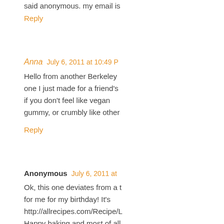said anonymous. my email is
Reply
Anna  July 6, 2011 at 10:49 P
Hello from another Berkeley one I just made for a friend's if you don't feel like vegan gummy, or crumbly like other
Reply
Anonymous  July 6, 2011 at
Ok, this one deviates from a t for me for my birthday! It's http://allrecipes.com/Recipe/L Happy baking and most of all
Joy Couture joycekul@hotma
Reply
Stacey Minton  July 6, 2011
Hi there. Love this idea. You meringue cake from Mertha S